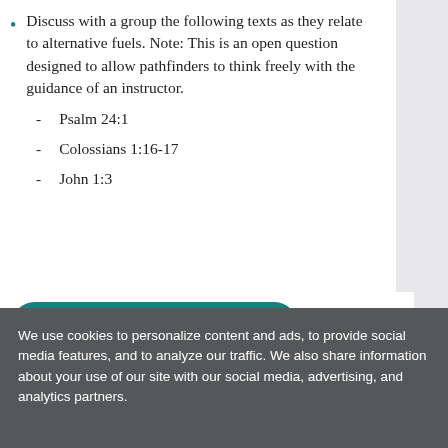Discuss with a group the following texts as they relate to alternative fuels. Note: This is an open question designed to allow pathfinders to think freely with the guidance of an instructor.
- Psalm 24:1
- Colossians 1:16-17
- John 1:3
DOWNLOAD HONOR BOOK
We use cookies to personalize content and ads, to provide social media features, and to analyze our traffic. We also share information about your use of our site with our social media, advertising, and analytics partners.